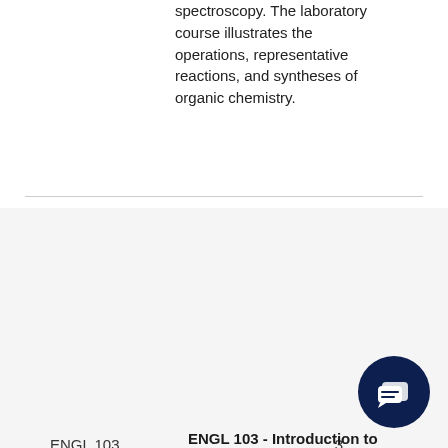spectroscopy. The laboratory course illustrates the operations, representative reactions, and syntheses of organic chemistry.
ENGL 103
3
ENGL 103 - Introduction to Fiction | 2022-2023 An introductory study of fiction with the purpose of understanding literature and cultivating skills in scholarly research, textual analysis, and academic writing and documentation. Such skills are fostered by